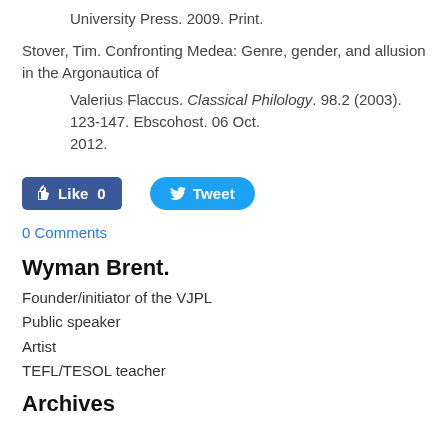University Press. 2009. Print.
Stover, Tim. Confronting Medea: Genre, gender, and allusion in the Argonautica of
Valerius Flaccus. Classical Philology. 98.2 (2003). 123-147. Ebscohost. 06 Oct.
2012.
[Figure (other): Facebook Like button showing 'Like 0' and Twitter Tweet button]
0 Comments
Wyman Brent.
Founder/initiator of the VJPL
Public speaker
Artist
TEFL/TESOL teacher
Archives